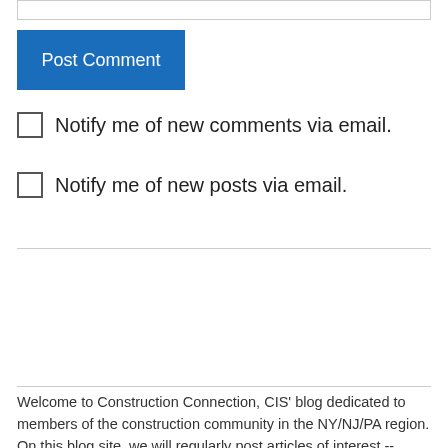[input bar]
Post Comment
Notify me of new comments via email.
Notify me of new posts via email.
Welcome to Construction Connection, CIS' blog dedicated to members of the construction community in the NY/NJ/PA region. On this blog site, we will regularly post articles of interest -- including news, trends and